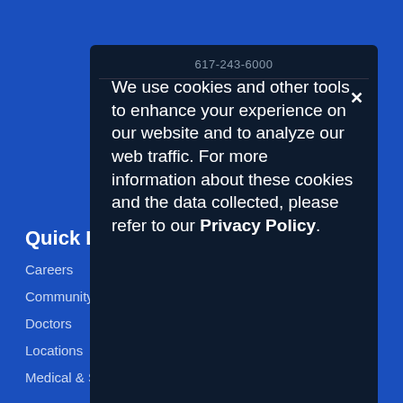617-243-6000
We use cookies and other tools to enhance your experience on our website and to analyze our web traffic. For more information about these cookies and the data collected, please refer to our Privacy Policy.
Stay Connected!
Quick Links
Careers
Community Resources
Doctors
Locations
Medical & Surgical Services